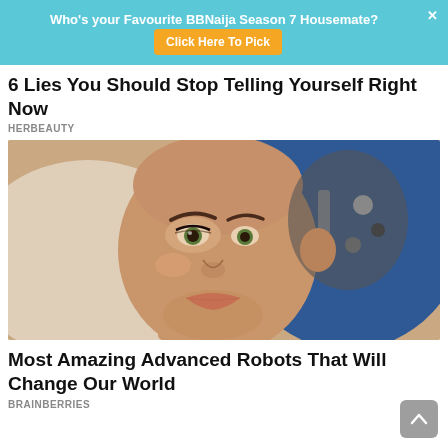[Figure (screenshot): Advertisement banner with cyan/teal background. Text: 'Who's your Favourite BBNaija Season 7 Housemate?' with an orange 'Click Here To Pick' button and an X close button.]
6 Lies You Should Stop Telling Yourself Right Now
HERBEAUTY
[Figure (photo): Close-up photo of Sophia the robot, a humanoid robot with realistic skin-toned face, red lips, arched eyebrows, and visible mechanical components at the back of the head. Background is blue and white.]
Most Amazing Advanced Robots That Will Change Our World
BRAINBERRIES